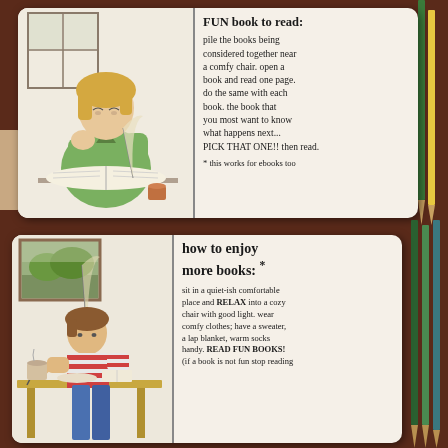[Figure (illustration): Top notebook spread: left page shows watercolor illustration of a person with blonde hair resting chin on hand, sitting at a desk with an open book and a cup. Right page has handwritten text about how to pick a fun book to read.]
FUN book to read:
pile the books being considered together near a comfy chair. open a book and read one page. do the same with each book. the book that you most want to know what happens next... PICK THAT ONE!! then read.
* this works for ebooks too
[Figure (illustration): Bottom notebook spread: left page shows watercolor illustration of a person in a red and white striped shirt sitting at a table with a cup, plate, and book, with a landscape painting in background. Right page has handwritten text about how to enjoy more books.]
how to enjoy more books: *
sit in a quiet-ish comfortable place and RELAX into a cozy chair with good light. wear comfy clothes; have a sweater, a lap blanket, warm socks handy. READ FUN BOOKS! (if a book is not fun stop reading